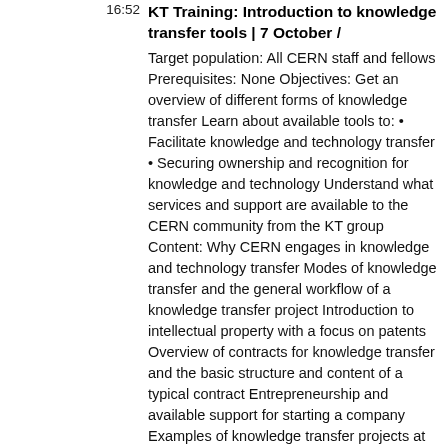16:52
KT Training: Introduction to knowledge transfer tools | 7 October /
Target population: All CERN staff and fellows Prerequisites: None Objectives: Get an overview of different forms of knowledge transfer Learn about available tools to: • Facilitate knowledge and technology transfer • Securing ownership and recognition for knowledge and technology Understand what services and support are available to the CERN community from the KT group Content: Why CERN engages in knowledge and technology transfer Modes of knowledge transfer and the general workflow of a knowledge transfer project Introduction to intellectual property with a focus on patents Overview of contracts for knowledge transfer and the basic structure and content of a typical contract Entrepreneurship and available support for starting a company Examples of knowledge transfer projects at CERN For more information, see the Training catalogue..
BUL-TD-2016-011.- 2016 - Published in : CERN